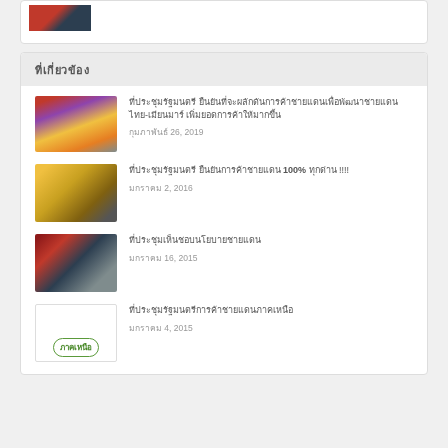[Figure (photo): Partial view of two people in formal attire at the top of the page]
ที่เกี่ยวข้อง
[Figure (photo): Conference room with presenter and audience]
ที่ประชุมรัฐมนตรี ยืนยันที่จะผลักดันการค้าชายแดนเพื่อพัฒนาชายแดนไทย-เมียนมาร์
กุมภาพันธ์ 26, 2019
[Figure (photo): Aerial or overhead view of golden-colored terrain]
ที่ประชุมรัฐมนตรี ยืนยันการค้าชายแดน 100% ทุกด่าน !!!!
มกราคม 2, 2016
[Figure (photo): Meeting room with red decor and officials seated at tables]
ที่ประชุมเห็นชอบนโยบายชายแดน
มกราคม 16, 2015
[Figure (logo): ภาคเหนือ logo with green oval border]
ที่ประชุมรัฐมนตรีการค้าชายแดนภาคเหนือ
มกราคม 4, 2015